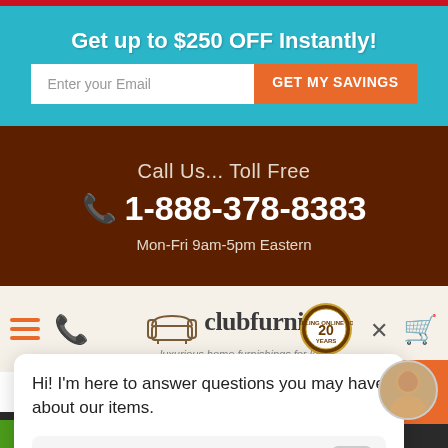Get up to $250 OFF Instantly!
Enter your Email | GET MY SAVINGS
Call Us... Toll Free
1-888-378-8383
Mon-Fri 9am-5pm Eastern
[Figure (logo): Club Furniture logo with armchair icon and '20 YEARS' badge, tagline: luxurious home furnishings for less!]
Hi! I'm here to answer questions you may have about our items.
Write a message...
Request
© 2022 Club Furniture Charlotte, NC. All rights reserved.